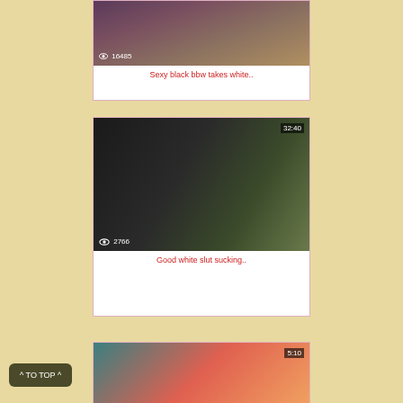[Figure (screenshot): Video thumbnail showing view count 16485]
Sexy black bbw takes white..
[Figure (screenshot): Video thumbnail with duration 32:40 and view count 2766]
Good white slut sucking..
[Figure (screenshot): Video thumbnail with duration 5:10]
^ TO TOP ^